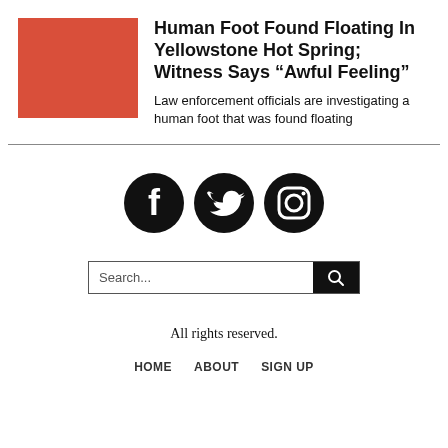[Figure (photo): Red/coral colored rectangle placeholder image]
Human Foot Found Floating In Yellowstone Hot Spring; Witness Says “Awful Feeling”
Law enforcement officials are investigating a human foot that was found floating
[Figure (infographic): Social media icons: Facebook, Twitter, Instagram (black circles with white logos)]
Search...
All rights reserved.
HOME   ABOUT   SIGN UP